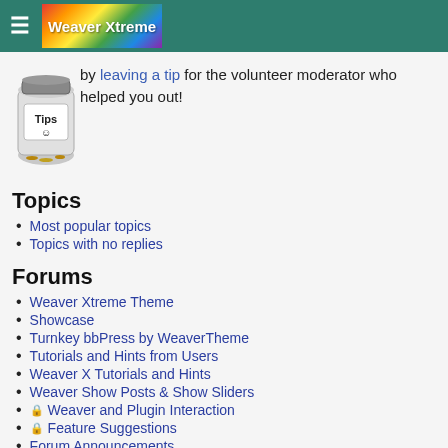Weaver Xtreme
[Figure (photo): Tip jar with coins and a smiley face label]
by leaving a tip for the volunteer moderator who helped you out!
Topics
Most popular topics
Topics with no replies
Forums
Weaver Xtreme Theme
Showcase
Turnkey bbPress by WeaverTheme
Tutorials and Hints from Users
Weaver X Tutorials and Hints
Weaver Show Posts & Show Sliders
🔒 Weaver and Plugin Interaction
🔒 Feature Suggestions
Forum Announcements